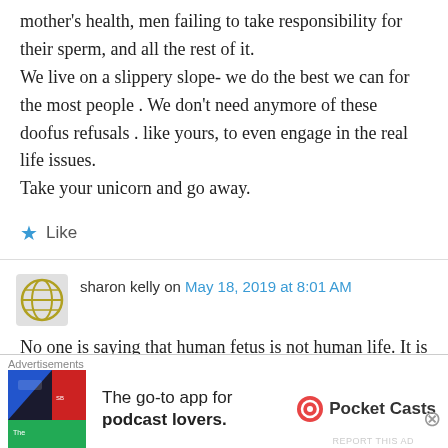mother's health, men failing to take responsibility for their sperm, and all the rest of it. We live on a slippery slope- we do the best we can for the most people . We don't need anymore of these doofus refusals . like yours, to even engage in the real life issues. Take your unicorn and go away.
★ Like
sharon kelly on May 18, 2019 at 8:01 AM
No one is saying that human fetus is not human life. It is a question of viability. Does that fetus
[Figure (infographic): Advertisement banner: The go-to app for podcast lovers. Pocket Casts logo and app icon.]